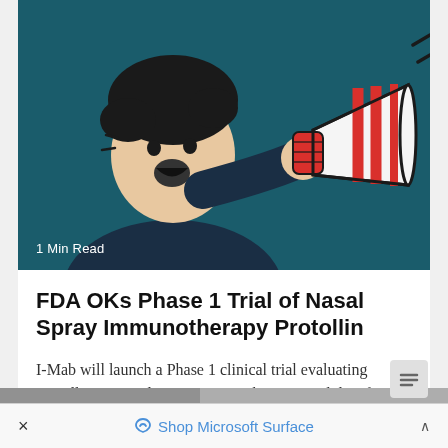[Figure (illustration): Cartoon illustration of a person holding a megaphone/bullhorn, shouting. The background is dark teal/navy. A '1 Min Read' badge is shown at the bottom left of the image.]
1 Min Read
FDA OKs Phase 1 Trial of Nasal Spray Immunotherapy Protollin
I-Mab will launch a Phase 1 clinical trial evaluating Protollin, its nasal spray immunotherapy candidate for Alzheimer’s disease. The biotech
Shop Microsoft Surface